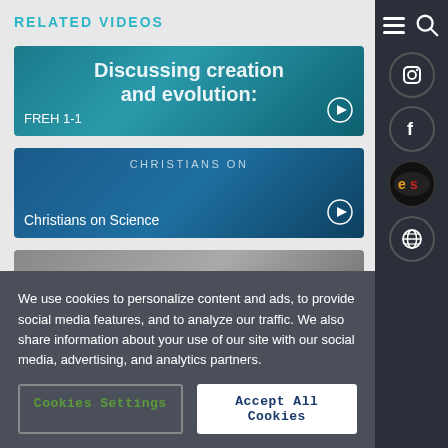RELATED VIDEOS
[Figure (screenshot): Video thumbnail: Discussing creation and evolution — FREH 1-1]
[Figure (screenshot): Video thumbnail: Christians on Science]
[Figure (screenshot): Video thumbnail: Pants and Dinosaur Footprints]
We use cookies to personalize content and ads, to provide social media features, and to analyze our traffic. We also share information about your use of our site with our social media, advertising, and analytics partners.
Cookies Settings
Accept All Cookies